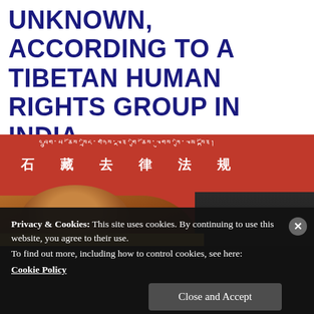UNKNOWN, ACCORDING TO A TIBETAN HUMAN RIGHTS GROUP IN INDIA.
[Figure (photo): A Tibetan monk with head bowed sitting in front of a red banner with Tibetan and Chinese script. Dark chairs visible in background.]
Privacy & Cookies: This site uses cookies. By continuing to use this website, you agree to their use.
To find out more, including how to control cookies, see here: Cookie Policy
Close and Accept